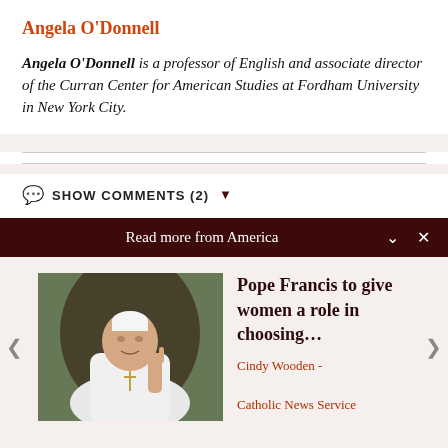Angela ODonnell
Angela O'Donnell is a professor of English and associate director of the Curran Center for American Studies at Fordham University in New York City.
SHOW COMMENTS (2)
Read more from America
[Figure (photo): Photo of Pope Francis in white papal robes, gesturing with one hand raised]
Pope Francis to give women a role in choosing... Cindy Wooden - Catholic News Service